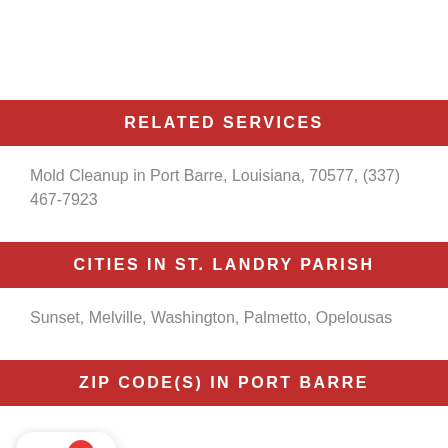RELATED SERVICES
Mold Cleanup in Port Barre, Louisiana, 70577, (337) 467-7923
CITIES IN ST. LANDRY PARISH
Sunset, Melville, Washington, Palmetto, Opelousas
ZIP CODE(S) IN PORT BARRE